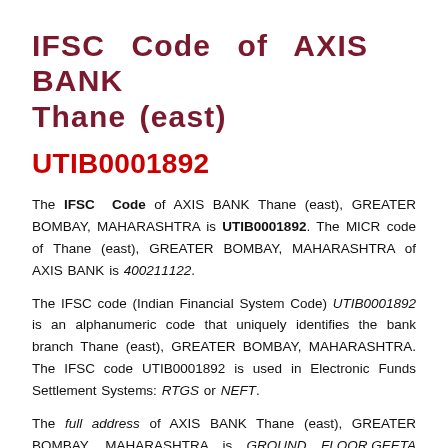IFSC Code of AXIS BANK Thane (east)
UTIB0001892
The IFSC Code of AXIS BANK Thane (east), GREATER BOMBAY, MAHARASHTRA is UTIB0001892. The MICR code of Thane (east), GREATER BOMBAY, MAHARASHTRA of AXIS BANK is 400211122.
The IFSC code (Indian Financial System Code) UTIB0001892 is an alphanumeric code that uniquely identifies the bank branch Thane (east), GREATER BOMBAY, MAHARASHTRA. The IFSC code UTIB0001892 is used in Electronic Funds Settlement Systems: RTGS or NEFT.
The full address of AXIS BANK Thane (east), GREATER BOMBAY, MAHARASHTRA is GROUND FLOOR,GEETA CONSTRUCTION CO, ANAND CINEMA STATION